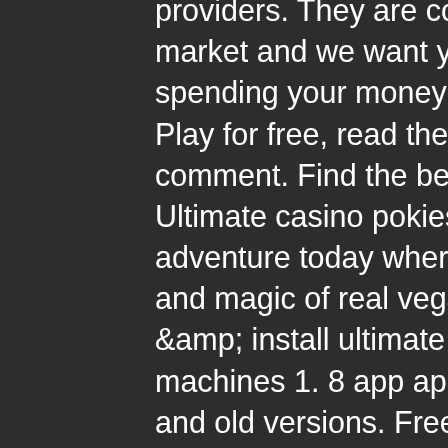providers. They are considered one of the best on the market and we want you to enjoy the best when spending your money with us. Cash ultimate slot demo. Play for free, read the review and leave a rating or comment. Find the best casino for real money play. Ultimate casino pokies, start your amazing vegas casino adventure today wherever you are! experience the thrills and magic of real vegas casino games. — download &amp; install ultimate slots: 2021 vegas casino slot machines 1. 8 app apk on android phones. Find latest and old versions. Free spins, and links to other ultimate choice jackpots for massive wins! See category ranking history, ad creatives, keyword rankings &amp; reviews of the ultimate casino &amp; slots app on play store. Ultimate slots: 2021 vegas casino slot machines 1. 4 and up apk free download updated version. Check out this ultimate invitation from ultimate slots! Ultimate fire link - olvera street ultimate fire